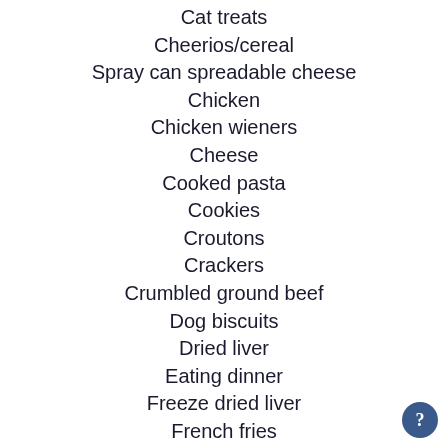Cat treats
Cheerios/cereal
Spray can spreadable cheese
Chicken
Chicken wieners
Cheese
Cooked pasta
Cookies
Croutons
Crackers
Crumbled ground beef
Dog biscuits
Dried liver
Eating dinner
Freeze dried liver
French fries
Hamburger
Hard boiled eggs